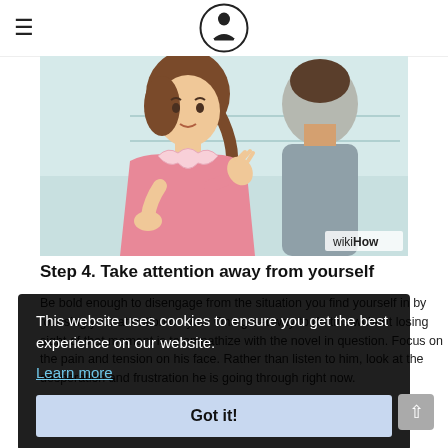wikiHow
[Figure (illustration): Illustration of two people in conversation: a woman in a pink top with a ruffled collar gesturing and looking concerned, facing a man in a grey shirt whose back is partially to the viewer. Light blue background. WikiHow watermark in bottom right corner.]
Step 4. Take attention away from yourself
Be bold enough to disengage from the situation you find yourself in by focusing your attention on you. One great way to do this without losing sight of that moment is to empathize with the novel in question. Focus on the pain and tension on his face. Rather than listen to him, look at the desperation and frustration he is going through right now.
This website uses cookies to ensure you get the best experience on our website.
Learn more
Got it!